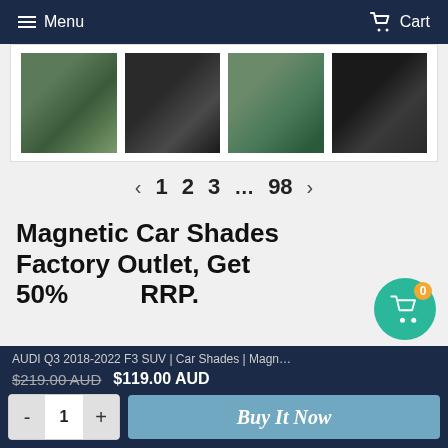Menu   Cart
[Figure (photo): Four thumbnail photos of magnetic car window shades installed on a car]
‹  1  2  3  ...  98  ›
Magnetic Car Shades Factory Outlet, Get 50%   RRP.
AUDI Q3 2018-2022 F3 SUV | Car Shades | Magn…  $219.00 AUD  $119.00 AUD  -  1  +  Buy It Now